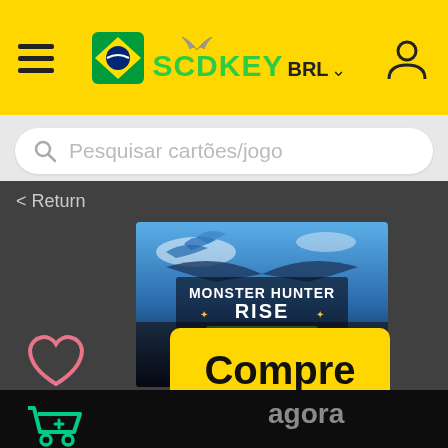[Figure (screenshot): SCDKEY website header with yellow background, hamburger menu, Brazil flag icon, SCDKEY logo with bird/wing, BRL currency selector with dropdown arrow, and user account icon]
Pesquisar cartões/jogo
< Return
[Figure (screenshot): Monster Hunter Rise Deluxe Kit game cover art showing the title logo against a blue sky with monster]
Compre
agora